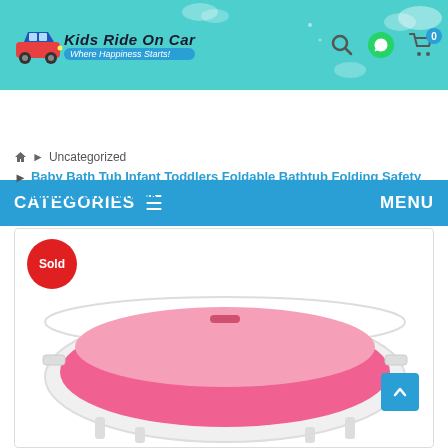Kids Ride On Car - Where Happiness Starts!
CATEGORIES   MENU
Home › Uncategorized
Baby Bath Tub Infant Toddlers Foldable Bathtub Folding Safety Bathing ShowerPink
[Figure (photo): Foldable pink and white baby bathtub shown from above angle with a red 'Sold' badge overlay]